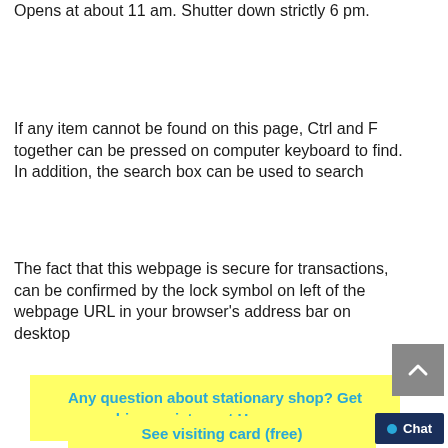Opens at about 11 am. Shutter down strictly 6 pm.
If any item cannot be found on this page, Ctrl and F together can be pressed on computer keyboard to find. In addition, the search box can be used to search
The fact that this webpage is secure for transactions, can be confirmed by the lock symbol on left of the webpage URL in your browser's address bar on desktop
Any question about stationary shop? Get bigger picture at Homepage
See visiting card (free)